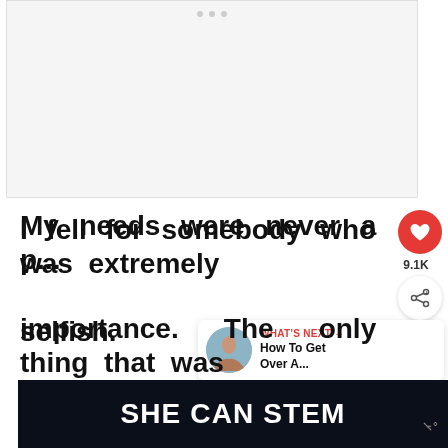[Figure (photo): Light gray image placeholder with three small dots at the top center, resembling a media carousel or empty image slot.]
I fell for somebody who was extremely selfish.
9.1K
[Figure (infographic): WHAT'S NEXT banner with thumbnail photo of a woman and text 'How To Get Over A...']
My needs were never a [p]... importance. The only thing that was i[mportant] [wa]s
[Figure (screenshot): Dark banner advertisement reading 'SHE CAN STEM' in bold white letters on a dark starry background, with a logo 'w' on the right.]